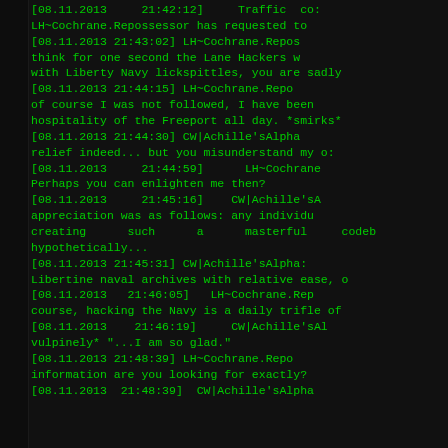[08.11.2013 21:42:12] Traffic co... LH~Cochrane.Repossessor has requested to [08.11.2013 21:43:02] LH~Cochrane.Repos think for one second the Lane Hackers w with Liberty Navy lickspittles, you are sadly [08.11.2013 21:44:15] LH~Cochrane.Repo of course I was not followed, I have been hospitality of the Freeport all day. *smirks* [08.11.2013 21:44:30] CW|Achille'sAlpha relief indeed... but you misunderstand my o [08.11.2013 21:44:59] LH~Cochrane Perhaps you can enlighten me then? [08.11.2013 21:45:16] CW|Achille'sA appreciation was as follows: any individu creating such a masterful codeb hypothetically... [08.11.2013 21:45:31] CW|Achille'sAlpha: Libertine naval archives with relative ease, o [08.11.2013 21:46:05] LH~Cochrane.Rep course, hacking the Navy is a daily trifle of [08.11.2013 21:46:19] CW|Achille'sAl vulpinely* "...I am so glad." [08.11.2013 21:48:39] LH~Cochrane.Repo information are you looking for exactly? [08.11.2013 21:48:39] CW|Achille'sAlpha